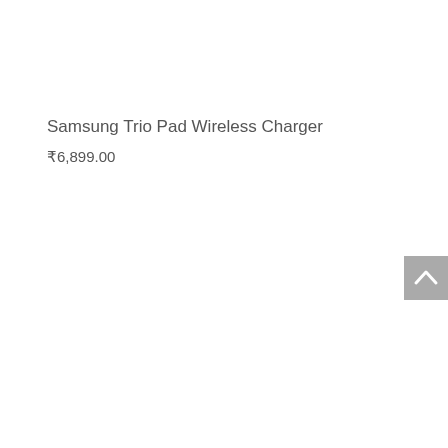Samsung Trio Pad Wireless Charger
₹6,899.00
[Figure (other): Back to top button with upward chevron arrow, gray background]